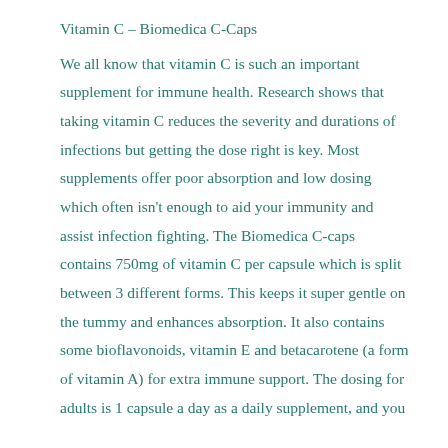Vitamin C – Biomedica C-Caps
We all know that vitamin C is such an important supplement for immune health. Research shows that taking vitamin C reduces the severity and durations of infections but getting the dose right is key. Most supplements offer poor absorption and low dosing which often isn't enough to aid your immunity and assist infection fighting. The Biomedica C-caps contains 750mg of vitamin C per capsule which is split between 3 different forms. This keeps it super gentle on the tummy and enhances absorption. It also contains some bioflavonoids, vitamin E and betacarotene (a form of vitamin A) for extra immune support. The dosing for adults is 1 capsule a day as a daily supplement, and you